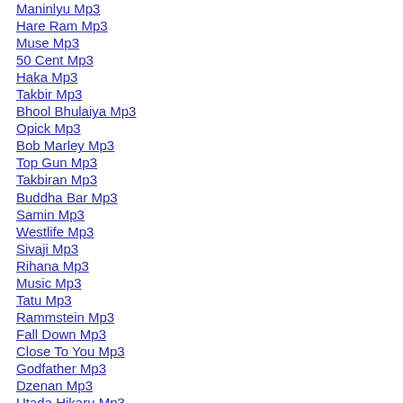Maninlyu Mp3
Hare Ram Mp3
Muse Mp3
50 Cent Mp3
Haka Mp3
Takbir Mp3
Bhool Bhulaiya Mp3
Opick Mp3
Bob Marley Mp3
Top Gun Mp3
Takbiran Mp3
Buddha Bar Mp3
Samin Mp3
Westlife Mp3
Sivaji Mp3
Rihana Mp3
Music Mp3
Tatu Mp3
Rammstein Mp3
Fall Down Mp3
Close To You Mp3
Godfather Mp3
Dzenan Mp3
Utada Hikaru Mp3
Gummy Bear Mp3
Highkas Mp3